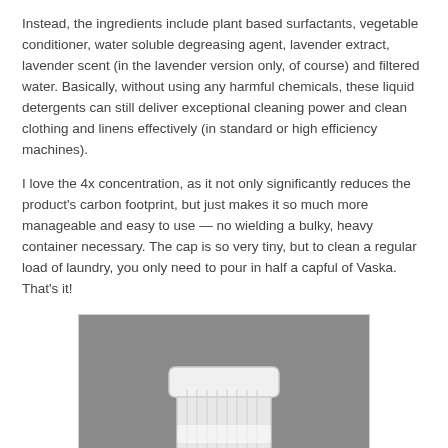Instead, the ingredients include plant based surfactants, vegetable conditioner, water soluble degreasing agent, lavender extract, lavender scent (in the lavender version only, of course) and filtered water. Basically, without using any harmful chemicals, these liquid detergents can still deliver exceptional cleaning power and clean clothing and linens effectively (in standard or high efficiency machines).
I love the 4x concentration, as it not only significantly reduces the product's carbon footprint, but just makes it so much more manageable and easy to use — no wielding a bulky, heavy container necessary. The cap is so very tiny, but to clean a regular load of laundry, you only need to pour in half a capful of Vaska. That's it!
[Figure (photo): A photo of a small translucent plastic cap/container being held by a hand, against a gray background.]